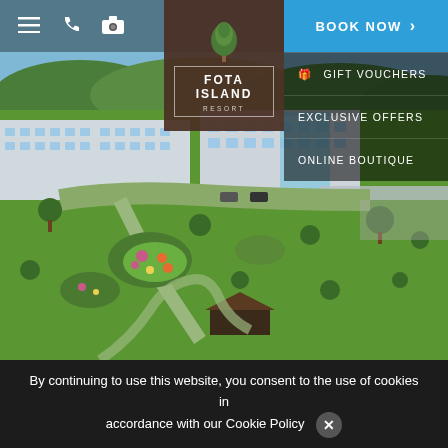[Figure (screenshot): Aerial view of Fota Island Resort showing green landscaped gardens, winding paths, flower beds, a gazebo, and the modern hotel building in the background surrounded by trees.]
BOOK NOW | GIFT VOUCHERS | EXCLUSIVE OFFERS | ONLINE BOUTIQUE
[Figure (logo): Fota Island Resort logo: tree icon above text reading FOTA ISLAND RESORT inside a thin rectangular border, on dark brown background.]
By continuing to use this website, you consent to the use of cookies in accordance with our Cookie Policy ✕